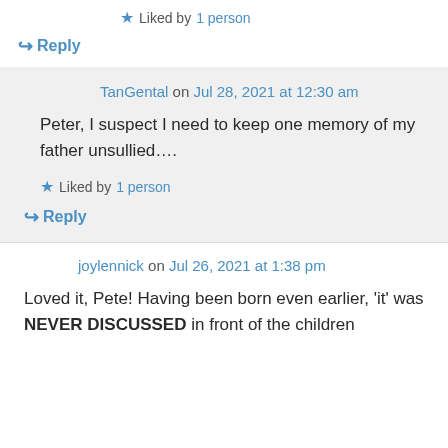★ Liked by 1 person
↪ Reply
TanGental on Jul 28, 2021 at 12:30 am
Peter, I suspect I need to keep one memory of my father unsullied....
★ Liked by 1 person
↪ Reply
joylennick on Jul 26, 2021 at 1:38 pm
Loved it, Pete! Having been born even earlier, 'it' was NEVER DISCUSSED in front of the children